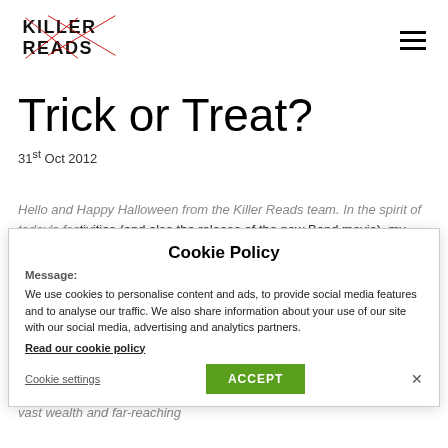Killer Reads [logo] [hamburger menu]
Trick or Treat?
31st Oct 2012
Hello and Happy Halloween from the Killer Reads team. In the spirit of today's festivities (and also the release of the new Bond movie), my question to the KR team this morning was: Who is your favourite fictional 3D Supervillain?
Cookie Policy
Message:
We use cookies to personalise content and ads, to provide social media features and to analyse our traffic. We also share information about your use of our site with our social media, advertising and analytics partners.
Read our cookie policy
Cookie settings   ACCEPT   ×
Sarah Hodgson: Blofeld remains the definitive c supervillain. As well as vast wealth and far-reaching